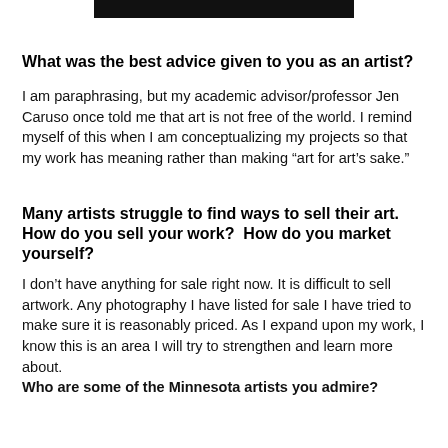[Figure (other): Black rectangle banner/image at top of page]
What was the best advice given to you as an artist?
I am paraphrasing, but my academic advisor/professor Jen Caruso once told me that art is not free of the world. I remind myself of this when I am conceptualizing my projects so that my work has meaning rather than making “art for art’s sake.”
Many artists struggle to find ways to sell their art.  How do you sell your work?  How do you market yourself?
I don’t have anything for sale right now. It is difficult to sell artwork. Any photography I have listed for sale I have tried to make sure it is reasonably priced. As I expand upon my work, I know this is an area I will try to strengthen and learn more about.
Who are some of the Minnesota artists you admire?